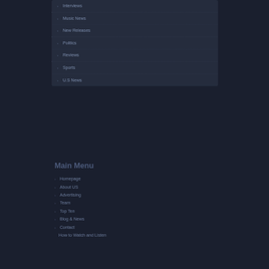Interviews
Music News
New Releases
Politics
Reviews
Sports
U.S News
Main Menu
Homepage
About US
Advertising
Team
Top Ten
Blog & News
Contact
How to Watch and Listen